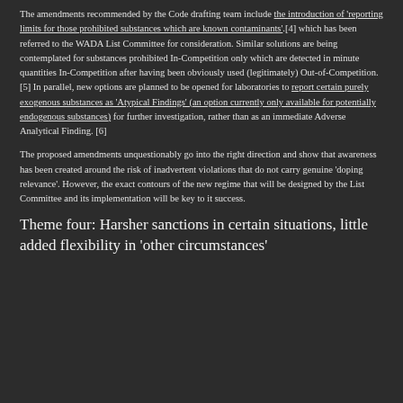The amendments recommended by the Code drafting team include the introduction of 'reporting limits for those prohibited substances which are known contaminants',[4] which has been referred to the WADA List Committee for consideration. Similar solutions are being contemplated for substances prohibited In-Competition only which are detected in minute quantities In-Competition after having been obviously used (legitimately) Out-of-Competition.[5] In parallel, new options are planned to be opened for laboratories to report certain purely exogenous substances as 'Atypical Findings' (an option currently only available for potentially endogenous substances) for further investigation, rather than as an immediate Adverse Analytical Finding.[6]
The proposed amendments unquestionably go into the right direction and show that awareness has been created around the risk of inadvertent violations that do not carry genuine 'doping relevance'. However, the exact contours of the new regime that will be designed by the List Committee and its implementation will be key to it success.
Theme four: Harsher sanctions in certain situations, little added flexibility in 'other circumstances'